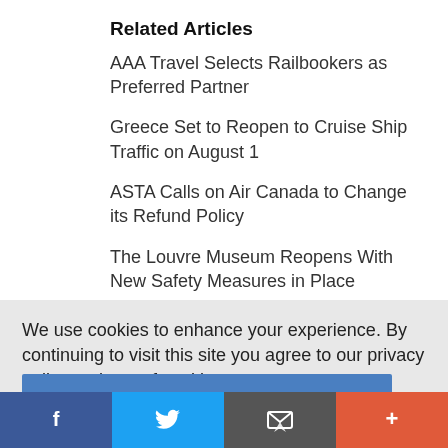Related Articles
AAA Travel Selects Railbookers as Preferred Partner
Greece Set to Reopen to Cruise Ship Traffic on August 1
ASTA Calls on Air Canada to Change its Refund Policy
The Louvre Museum Reopens With New Safety Measures in Place
We use cookies to enhance your experience. By continuing to visit this site you agree to our privacy policy and use of cookies.
Learn more
OK
[Figure (other): Social sharing bar with icons for Facebook, Twitter, email/share, and a plus/more button]